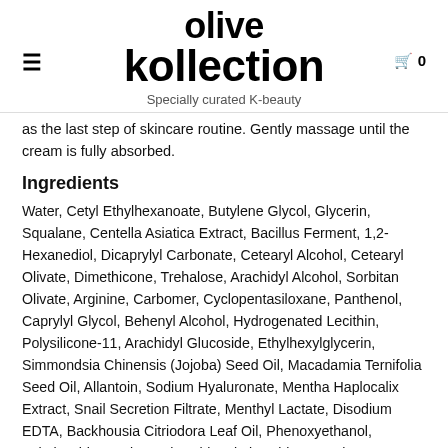olive kollection
Specially curated K-beauty
as the last step of skincare routine. Gently massage until the cream is fully absorbed.
Ingredients
Water, Cetyl Ethylhexanoate, Butylene Glycol, Glycerin, Squalane, Centella Asiatica Extract, Bacillus Ferment, 1,2-Hexanediol, Dicaprylyl Carbonate, Cetearyl Alcohol, Cetearyl Olivate, Dimethicone, Trehalose, Arachidyl Alcohol, Sorbitan Olivate, Arginine, Carbomer, Cyclopentasiloxane, Panthenol, Caprylyl Glycol, Behenyl Alcohol, Hydrogenated Lecithin, Polysilicone-11, Arachidyl Glucoside, Ethylhexylglycerin, Simmondsia Chinensis (Jojoba) Seed Oil, Macadamia Ternifolia Seed Oil, Allantoin, Sodium Hyaluronate, Mentha Haplocalix Extract, Snail Secretion Filtrate, Menthyl Lactate, Disodium EDTA, Backhousia Citriodora Leaf Oil, Phenoxyethanol, Asiaticoside, Madecassic acid, Asiatic acid, Beta-Glucan